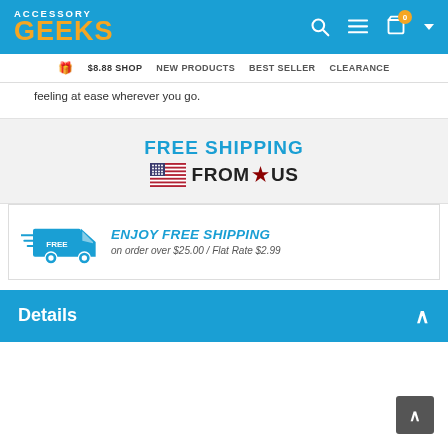ACCESSORY GEEKS
$8.88 SHOP  NEW PRODUCTS  BEST SELLER  CLEARANCE
feeling at ease wherever you go.
[Figure (infographic): FREE SHIPPING FROM*US banner with US flag stripes icon]
[Figure (infographic): Blue delivery truck icon with FREE label. ENJOY FREE SHIPPING on order over $25.00 / Flat Rate $2.99]
Details